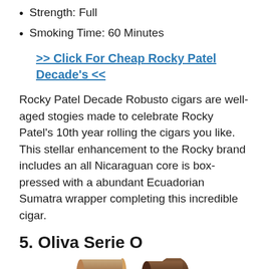Strength: Full
Smoking Time: 60 Minutes
>> Click For Cheap Rocky Patel Decade's <<
Rocky Patel Decade Robusto cigars are well-aged stogies made to celebrate Rocky Patel's 10th year rolling the cigars you like. This stellar enhancement to the Rocky brand includes an all Nicaraguan core is box-pressed with a abundant Ecuadorian Sumatra wrapper completing this incredible cigar.
5. Oliva Serie O
[Figure (photo): Photo of Oliva Serie O cigars]